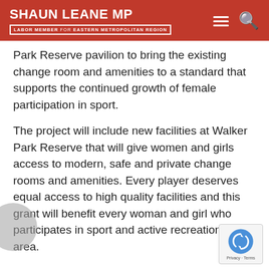SHAUN LEANE MP — LABOR MEMBER for EASTERN METROPOLITAN REGION
Park Reserve pavilion to bring the existing change room and amenities to a standard that supports the continued growth of female participation in sport.
The project will include new facilities at Walker Park Reserve that will give women and girls access to modern, safe and private change rooms and amenities. Every player deserves equal access to high quality facilities and this grant will benefit every woman and girl who participates in sport and active recreation in the area.
The project is one of more than 40 to score a boost from the game changing fund that